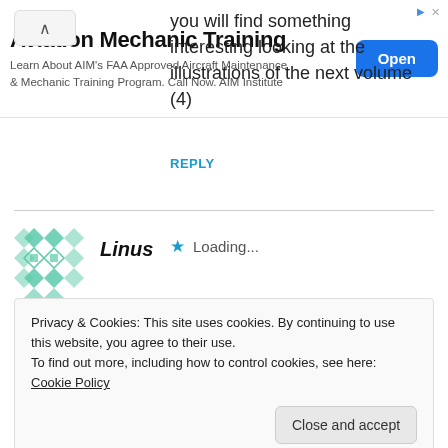[Figure (screenshot): Advertisement banner for Aviation Mechanic Training with blue Open button]
you will find something interesting looking at the illustrations of the next volume (4)
Loading...
REPLY
[Figure (illustration): Avatar icon for Linus user — geometric diamond/square pattern in teal/green]
Linus
Privacy & Cookies: This site uses cookies. By continuing to use this website, you agree to their use.
To find out more, including how to control cookies, see here: Cookie Policy
Close and accept